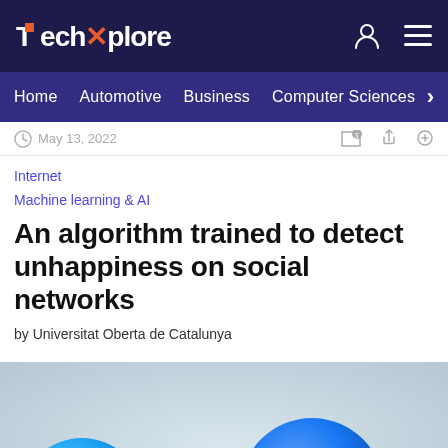TechXplore — Home | Automotive | Business | Computer Sciences
May 13, 2022
Internet
Machine learning & AI
An algorithm trained to detect unhappiness on social networks
by Universitat Oberta de Catalunya
[Figure (photo): Social media app icons (Twitter/TikTok/Facebook/other) as 3D spherical buttons on a light gray background]